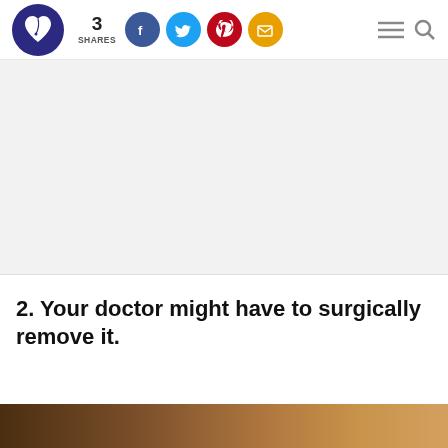3 SHARES — social sharing header with logo, Facebook, Twitter, Pinterest, Email buttons, menu and search icons
[Figure (other): Advertisement/banner area — large white/grey blank advertisement block]
2. Your doctor might have to surgically remove it.
[Figure (photo): Partial bottom image — cropped photo, appears to show a medical or skin-related image]